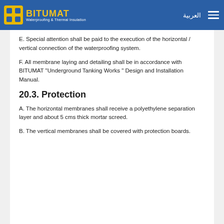BITUMAT Waterproofing & Thermal Insulation
E. Special attention shall be paid to the execution of the horizontal / vertical connection of the waterproofing system.
F. All membrane laying and detailing shall be in accordance with BITUMAT "Underground Tanking Works " Design and Installation Manual.
20.3. Protection
A. The horizontal membranes shall receive a polyethylene separation layer and about 5 cms thick mortar screed.
B. The vertical membranes shall be covered with protection boards.